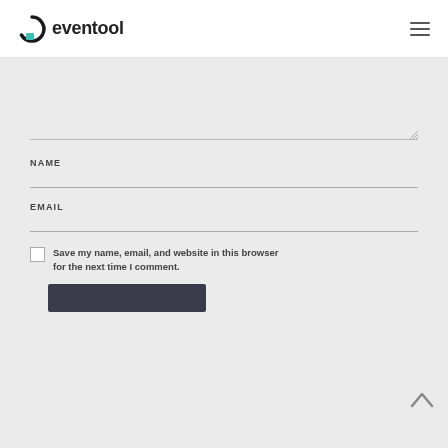eventool
[Figure (screenshot): Web form UI showing a comment/form section with a textarea, NAME field, EMAIL field, a save-info checkbox with label text, a back-to-top arrow button, and a dark submit button, all on a light grey background.]